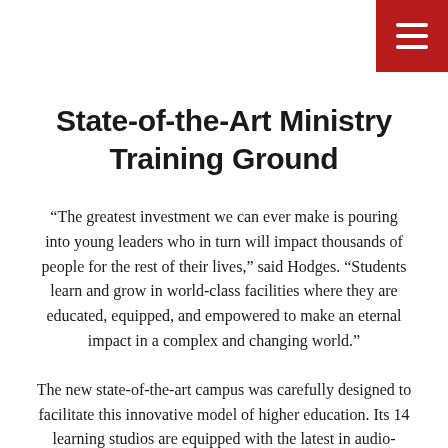menu icon
State-of-the-Art Ministry Training Ground
“The greatest investment we can ever make is pouring into young leaders who in turn will impact thousands of people for the rest of their lives,” said Hodges. “Students learn and grow in world-class facilities where they are educated, equipped, and empowered to make an eternal impact in a complex and changing world.”
The new state-of-the-art campus was carefully designed to facilitate this innovative model of higher education. Its 14 learning studios are equipped with the latest in audio-visual technology to support a cutting-edge